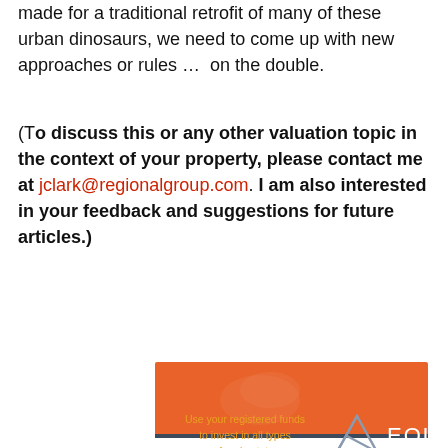made for a traditional retrofit of many of these urban dinosaurs, we need to come up with new approaches or rules …  on the double.
(To discuss this or any other valuation topic in the context of your property, please contact me at jclark@regionalgroup.com. I am also interested in your feedback and suggestions for future articles.)
[Figure (logo): Equiton advertisement with orange banner and dark blue bottom bar. Left side says 'Use your registered funds to invest in all types of real estate.' in gold text. Right side shows Equiton logo with geometric shape and EQUITON text.]